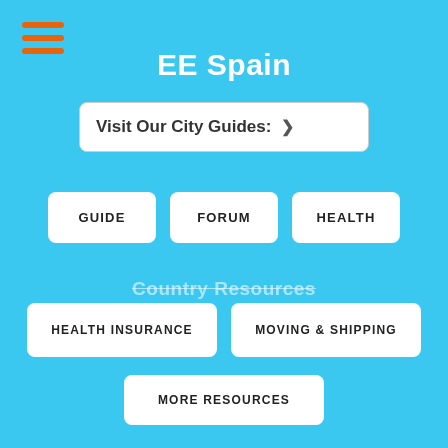[Figure (other): Orange hamburger menu icon (three horizontal orange lines) in top-left corner]
EE Spain
Visit Our City Guides: ❯
GUIDE
FORUM
HEALTH
Country Resources
HEALTH INSURANCE
MOVING & SHIPPING
MORE RESOURCES
Copyright 1997-2022 Burlingame Interactive, Inc.
Privacy Policy  Legal